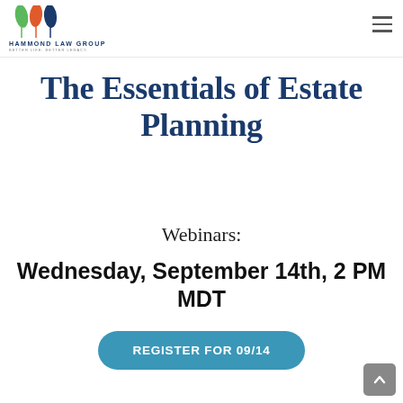[Figure (logo): Hammond Law Group logo with three colored leaf icons (green, red, dark blue) above the text 'HAMMOND LAW GROUP' and tagline 'BETTER LIFE. BETTER LEGACY.']
The Essentials of Estate Planning
Webinars:
Wednesday, September 14th, 2 PM MDT
REGISTER FOR 09/14